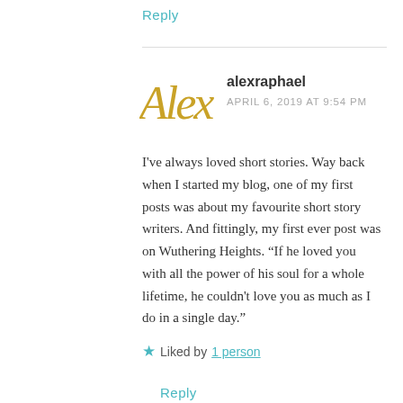Reply
[Figure (illustration): Stylized golden/yellow italic 'Alex' avatar logo for user alexraphael]
alexraphael
APRIL 6, 2019 AT 9:54 PM
I've always loved short stories. Way back when I started my blog, one of my first posts was about my favourite short story writers. And fittingly, my first ever post was on Wuthering Heights. “If he loved you with all the power of his soul for a whole lifetime, he couldn't love you as much as I do in a single day.”
★ Liked by 1 person
Reply